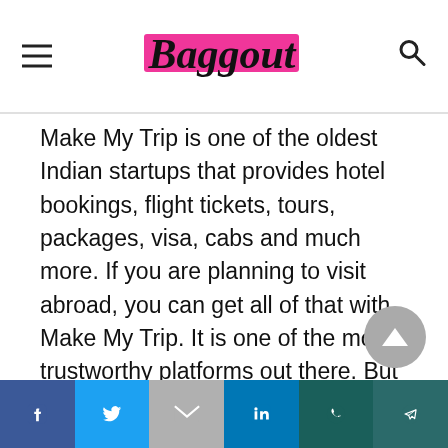Baggout
Make My Trip is one of the oldest Indian startups that provides hotel bookings, flight tickets, tours, packages, visa, cabs and much more. If you are planning to visit abroad, you can get all of that with Make My Trip. It is one of the most trustworthy platforms out there. But make sure you do some ground research as well, before making an order. The website also provides you information like covid related protocols you need to follow and more.
Social share bar: Facebook, Twitter, Gmail, LinkedIn, WhatsApp, Telegram